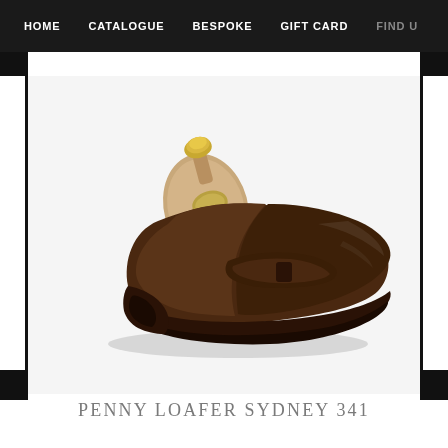HOME    CATALOGUE    BESPOKE    GIFT CARD    FIND U
[Figure (photo): A dark brown suede penny loafer shoe (Sydney 341) displayed with a wooden shoe tree insert, photographed on a white background from a side angle.]
PENNY LOAFER SYDNEY 341